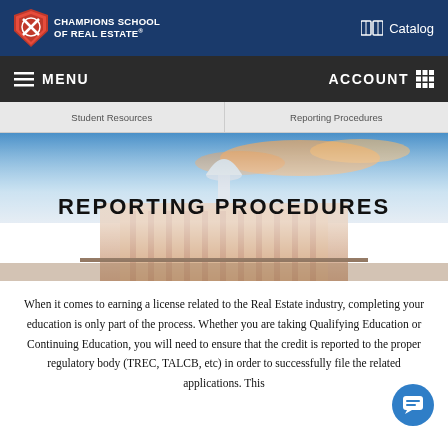Champions School of Real Estate — Catalog
MENU   ACCOUNT
Student Resources   Reporting Procedures
[Figure (photo): Hero banner image of a government/capitol building with dome, blue sky with orange clouds; text overlay reads REPORTING PROCEDURES]
REPORTING PROCEDURES
When it comes to earning a license related to the Real Estate industry, completing your education is only part of the process. Whether you are taking Qualifying Education or Continuing Education, you will need to ensure that the credit is reported to the proper regulatory body (TREC, TALCB, etc) in order to successfully file the related applications. This